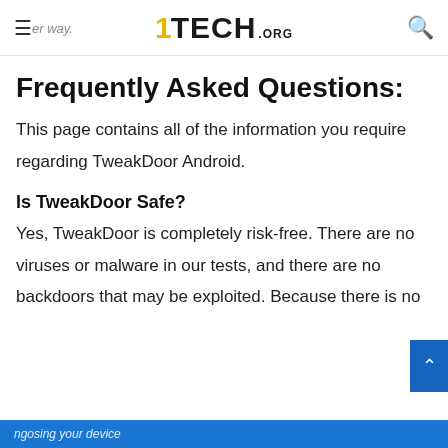1TECH.ORG
Frequently Asked Questions:
This page contains all of the information you require regarding TweakDoor Android.
Is TweakDoor Safe?
Yes, TweakDoor is completely risk-free. There are no viruses or malware in our tests, and there are no backdoors that may be exploited. Because there is no